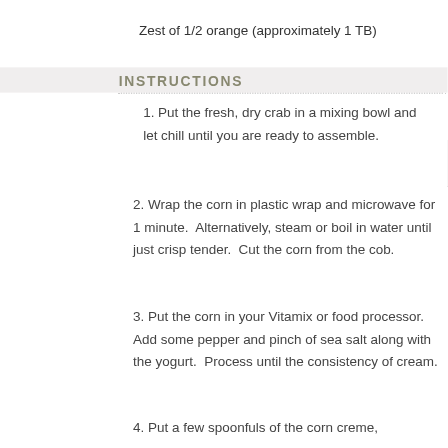Zest of 1/2 orange (approximately 1 TB)
INSTRUCTIONS
1. Put the fresh, dry crab in a mixing bowl and let chill until you are ready to assemble.
2. Wrap the corn in plastic wrap and microwave for 1 minute.  Alternatively, steam or boil in water until just crisp tender.  Cut the corn from the cob.
3. Put the corn in your Vitamix or food processor.  Add some pepper and pinch of sea salt along with the yogurt.  Process until the consistency of cream.
4. Put a few spoonfuls of the corn creme,